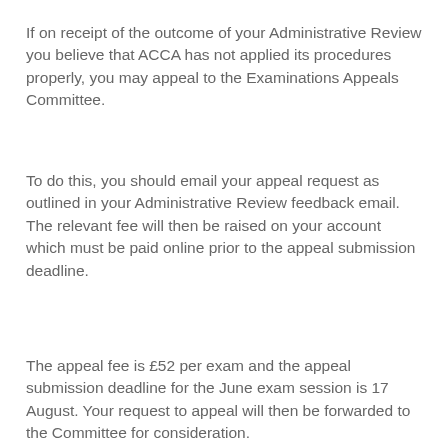If on receipt of the outcome of your Administrative Review you believe that ACCA has not applied its procedures properly, you may appeal to the Examinations Appeals Committee.
To do this, you should email your appeal request as outlined in your Administrative Review feedback email. The relevant fee will then be raised on your account which must be paid online prior to the appeal submission deadline.
The appeal fee is £52 per exam and the appeal submission deadline for the June exam session is 17 August. Your request to appeal will then be forwarded to the Committee for consideration.
The appeals process is not a re-marking service and you will not receive any further feedback on your